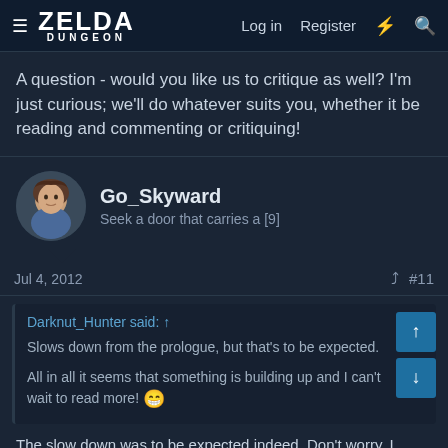ZELDA DUNGEON  Log in  Register
A question - would you like us to critique as well? I'm just curious; we'll do whatever suits you, whether it be reading and commenting or critiquing!
Go_Skyward
Seek a door that carries a [9]
Jul 4, 2012  #11
Darknut_Hunter said: ↑

Slows down from the prologue, but that's to be expected.

All in all it seems that something is building up and I can't wait to read more! 😁
The slow down was to be expected indeed. Don't worry, I won't spend too long on a slow down. Everything will hopefully pick